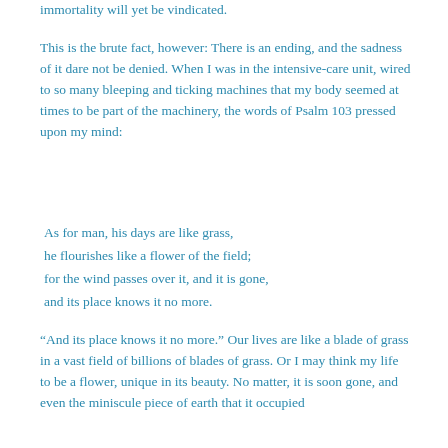immortality will yet be vindicated.
This is the brute fact, however: There is an ending, and the sadness of it dare not be denied. When I was in the intensive-care unit, wired to so many bleeping and ticking machines that my body seemed at times to be part of the machinery, the words of Psalm 103 pressed upon my mind:
As for man, his days are like grass,
he flourishes like a flower of the field;
for the wind passes over it, and it is gone,
and its place knows it no more.
“And its place knows it no more.” Our lives are like a blade of grass in a vast field of billions of blades of grass. Or I may think my life to be a flower, unique in its beauty. No matter, it is soon gone, and even the miniscule piece of earth that it occupied knows it no more. The bitter experience and